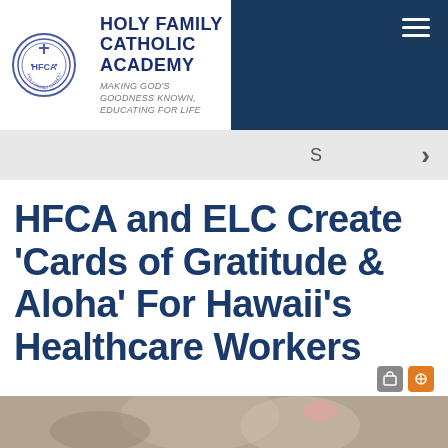[Figure (logo): Holy Family Catholic Academy circular seal/logo in blue and white]
HOLY FAMILY CATHOLIC ACADEMY
MAKING GOD'S GOODNESS KNOWN, EDUCATING FOR LIFE
HFCA and ELC Create 'Cards of Gratitude & Aloha' For Hawaii's Healthcare Workers
[Figure (photo): Partial view of a photo at the bottom of the page showing a person]